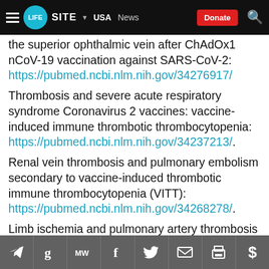LifeSite | USA News | Donate
the superior ophthalmic vein after ChAdOx1 nCoV-19 vaccination against SARS-CoV-2: https://pubmed.ncbi.nlm.nih.gov/34276917/
Thrombosis and severe acute respiratory syndrome Coronavirus 2 vaccines: vaccine-induced immune thrombotic thrombocytopenia: https://pubmed.ncbi.nlm.nih.gov/34237213/.
Renal vein thrombosis and pulmonary embolism secondary to vaccine-induced thrombotic immune thrombocytopenia (VITT): https://pubmed.ncbi.nlm.nih.gov/34268278/.
Limb ischemia and pulmonary artery thrombosis after ChAdOx1 nCoV-19 vaccine (Oxford-AstraZeneca):
Social share icons: Telegram, Google, MeWe, Facebook, Twitter, Email, Print | Donate $